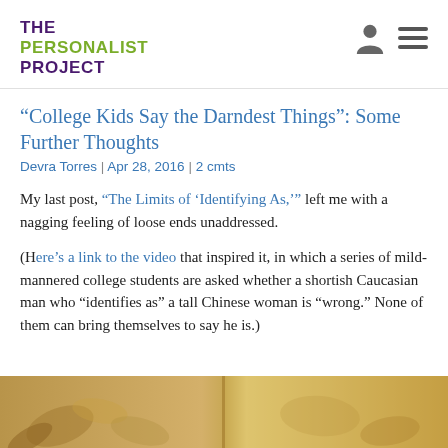THE PERSONALIST PROJECT
“College Kids Say the Darndest Things”: Some Further Thoughts
Devra Torres | Apr 28, 2016 | 2 cmts
My last post, “The Limits of ‘Identifying As,’” left me with a nagging feeling of loose ends unaddressed.
(Here’s a link to the video that inspired it, in which a series of mild-mannered college students are asked whether a shortish Caucasian man who “identifies as” a tall Chinese woman is “wrong.” None of them can bring themselves to say he is.)
[Figure (photo): A vintage or aged image with warm golden-brown tones, showing foliage or plant-like forms and a vertical line suggesting a door or panel.]